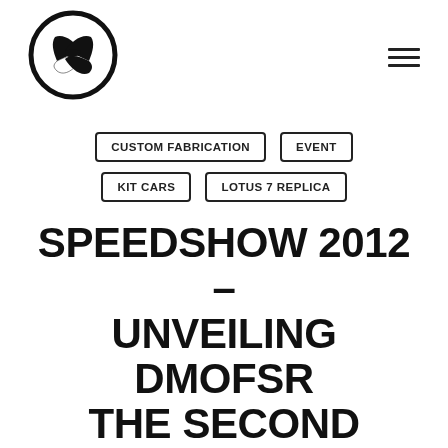[Figure (logo): Circular logo with stylized F/flag mark in black and white]
CUSTOM FABRICATION
EVENT
KIT CARS
LOTUS 7 REPLICA
SPEEDSHOW 2012 – UNVEILING DMOFSR THE SECOND
August 21, 2012  |  No Comments